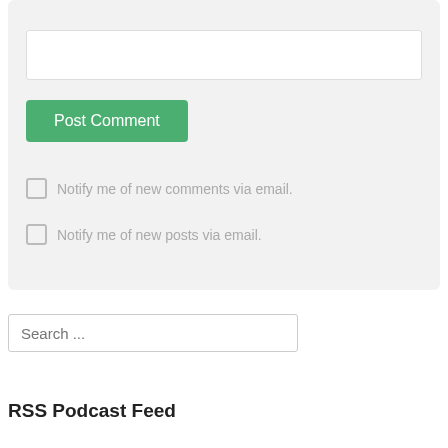Website
Post Comment
Notify me of new comments via email.
Notify me of new posts via email.
Search ...
RSS Podcast Feed